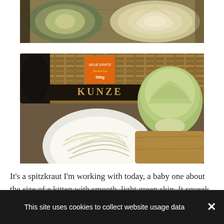[Figure (photo): Photo of artichokes on a cutting board, viewed from above, showing cross-sections and whole artichokes]
[Figure (photo): Photo showing a white bowl of shredded cabbage, a whole head of cabbage, and a Kunze label in the background with woven mat]
It's a spitzkraut I'm working with today, a baby one about the size of a kitten with smooth, light green skin. It squeak apart as I cu...
This site uses cookies to collect website usage data